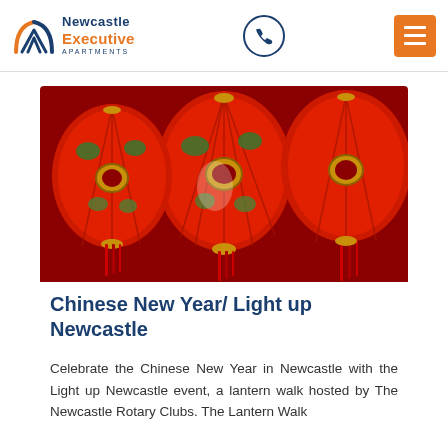Newcastle Executive Apartments
[Figure (photo): Close-up photograph of multiple red Chinese decorative paper lanterns, ornately patterned with green, gold and white details, hanging together.]
Chinese New Year/ Light up Newcastle
Celebrate the Chinese New Year in Newcastle with the Light up Newcastle event, a lantern walk hosted by The Newcastle Rotary Clubs. The Lantern Walk